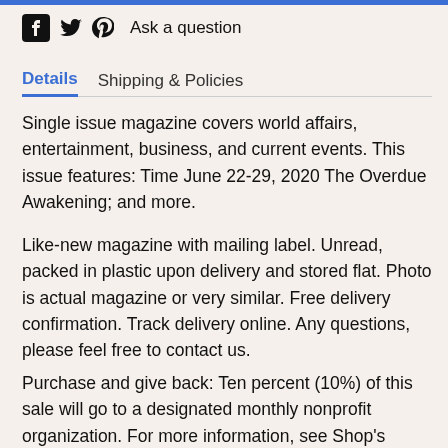Facebook Twitter Pinterest Ask a question
Details | Shipping & Policies
Single issue magazine covers world affairs, entertainment, business, and current events. This issue features: Time June 22-29, 2020 The Overdue Awakening; and more.
Like-new magazine with mailing label. Unread, packed in plastic upon delivery and stored flat. Photo is actual magazine or very similar. Free delivery confirmation. Track delivery online. Any questions, please feel free to contact us.
Purchase and give back: Ten percent (10%) of this sale will go to a designated monthly nonprofit organization. For more information, see Shop's details.